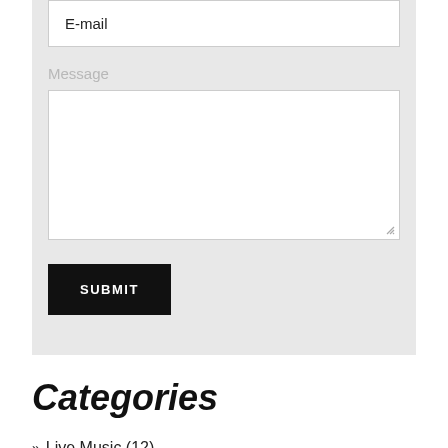E-mail
Message
SUBMIT
Categories
Live Music (12)
Comedy (2)